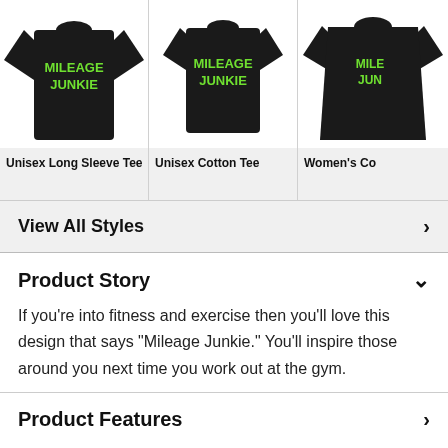[Figure (photo): Three product images: black long sleeve tee, black unisex cotton tee, and black women's cotton tee, all with 'MILEAGE JUNKIE' text in green]
Unisex Long Sleeve Tee
Unisex Cotton Tee
Women's Co
View All Styles ›
Product Story
If you're into fitness and exercise then you'll love this design that says "Mileage Junkie." You'll inspire those around you next time you work out at the gym.
Product Features ›